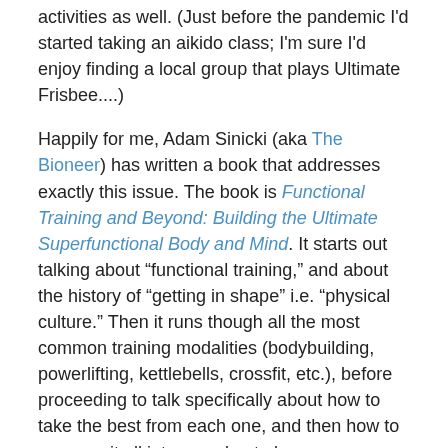activities as well. (Just before the pandemic I'd started taking an aikido class; I'm sure I'd enjoy finding a local group that plays Ultimate Frisbee....)
Happily for me, Adam Sinicki (aka The Bioneer) has written a book that addresses exactly this issue. The book is Functional Training and Beyond: Building the Ultimate Superfunctional Body and Mind. It starts out talking about "functional training," and about the history of "getting in shape" i.e. "physical culture." Then it runs though all the most common training modalities (bodybuilding, powerlifting, kettlebells, crossfit, etc.), before proceeding to talk specifically about how to take the best from each one, and then how to program it all into a workout plan.
His thinking on programming is pretty straightforward: You don't just add everything together. Rather, you